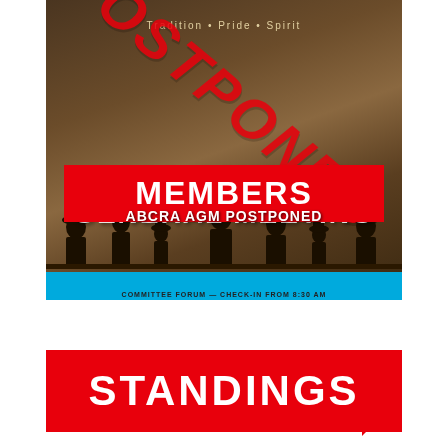[Figure (photo): ABCRA Annual General Meeting promotional image with silhouettes of people in cowboy hats, overlaid with red POSTPONED diagonal stamp, a red MEMBERS banner, and text reading ABCRA AGM POSTPONED. Blue strip at bottom. Tagline: Tradition · Pride · Spirit]
STANDINGS